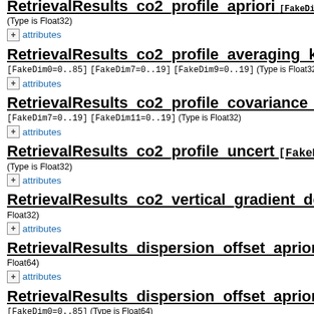RetrievalResults_co2_profile_apriori [FakeDim0=0..85] (Type is Float32)
+ attributes
RetrievalResults_co2_profile_averaging_kernel_m [FakeDim0=0..85] [FakeDim7=0..19] [FakeDim9=0..19] (Type is Float32)
+ attributes
RetrievalResults_co2_profile_covariance_matrix [F [FakeDim7=0..19] [FakeDim11=0..19] (Type is Float32)
+ attributes
RetrievalResults_co2_profile_uncert [FakeDim0=0..85] (Type is Float32)
+ attributes
RetrievalResults_co2_vertical_gradient_delta [FakeD Float32)
+ attributes
RetrievalResults_dispersion_offset_apriori_o2 [Fake Float64)
+ attributes
RetrievalResults_dispersion_offset_apriori_strong_ [FakeDim0=0..85] (Type is Float64)
+ attributes
RetrievalResults_dispersion_offset_apriori_weak_c [FakeDim0=0..85] (Type is Float64)
+ attributes